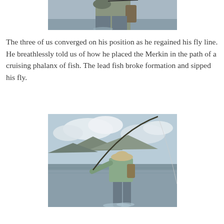[Figure (photo): Cropped photo showing a fly fisherman from the torso down, wading in shallow water, holding a fishing rod and reel, wearing a hat and fishing vest, with gear on their side.]
The three of us converged on his position as he regained his fly line. He breathlessly told us of how he placed the Merkin in the path of a cruising phalanx of fish. The lead fish broke formation and sipped his fly.
[Figure (photo): A fly fisherman standing in shallow water, bending a rod deeply as they fight a fish. Mountains and clouds are visible in the background. The angler is wearing a light shirt, hat, and fishing gear.]